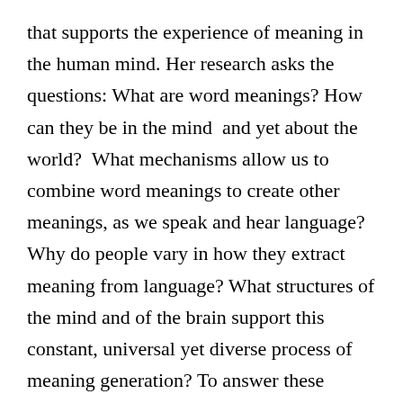that supports the experience of meaning in the human mind. Her research asks the questions: What are word meanings? How can they be in the mind  and yet about the world?  What mechanisms allow us to combine word meanings to create other meanings, as we speak and hear language? Why do people vary in how they extract meaning from language? What structures of the mind and of the brain support this constant, universal yet diverse process of meaning generation? To answer these questions Piñango's lab studies meaning comprehension including the  conceptual and memory systems that supports it in neurotypical adults and children, and using a variety of approaches; from strictly behavioral (questionnaires, self-paced reading, eye-tracking) to electrophysiological (ERP), and  to neuroimaging (fMRI) and focal lesions (Aphasia). Her